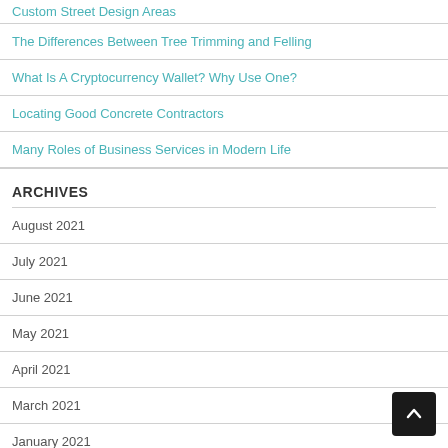The Differences Between Tree Trimming and Felling
What Is A Cryptocurrency Wallet? Why Use One?
Locating Good Concrete Contractors
Many Roles of Business Services in Modern Life
ARCHIVES
August 2021
July 2021
June 2021
May 2021
April 2021
March 2021
January 2021